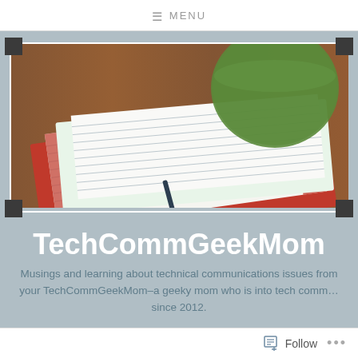≡ MENU
[Figure (photo): Banner image showing open lined notebooks with red covers and a green cup on a wooden surface, with white border and dark corner decorations]
TechCommGeekMom
Musings and learning about technical communications issues from your TechCommGeekMom–a geeky mom who is into tech comm…since 2012.
Follow ...